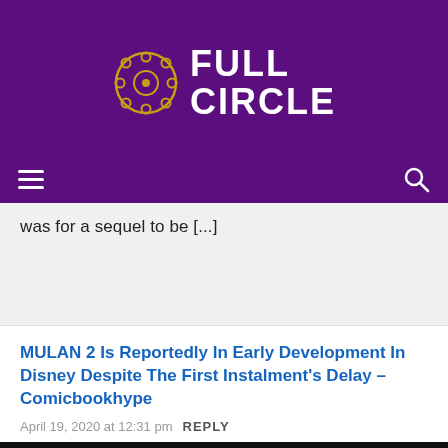FULL CIRCLE
was for a sequel to be [...]
MULAN 2 Is Reportedly In Early Development In Disney Despite The First Instalment's Delay – Comicbookhype
April 19, 2020 at 12:31 pm   REPLY
[Figure (photo): Hot Topic advertisement featuring The Nightmare Before Christmas Disney merchandise with three women in green outfits on yellow backgrounds]